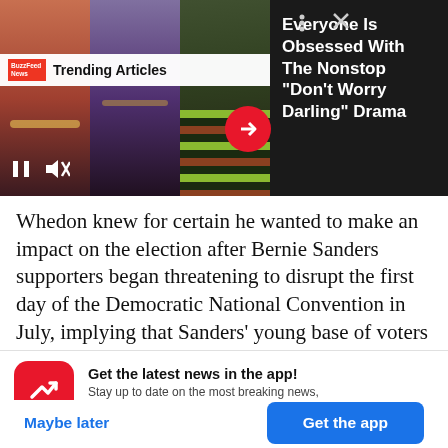[Figure (screenshot): BuzzFeed News trending articles media carousel with three celebrity photos and play/mute controls. Shows 'Trending Articles' bar with BuzzFeed News logo. Three vertical photo panels side by side.]
Everyone Is Obsessed With The Nonstop "Don't Worry Darling" Drama
Whedon knew for certain he wanted to make an impact on the election after Bernie Sanders supporters began threatening to disrupt the first day of the Democratic National Convention in July, implying that Sanders' young base of voters might
Get the latest news in the app! Stay up to date on the most breaking news, all from your BuzzFeed app.
Maybe later
Get the app